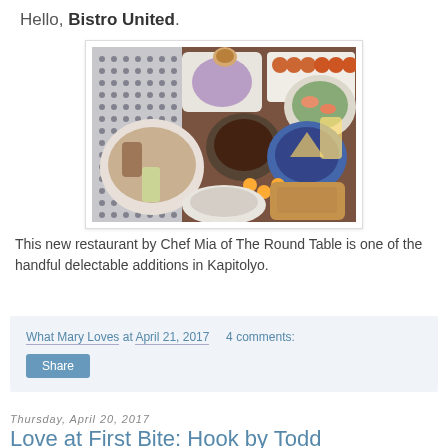Hello, Bistro United.
[Figure (photo): Overhead shot of multiple Filipino dishes arranged on a wooden table with a blue-and-white checkered cloth, including bowls of soup, stir-fried dishes, appetizers, and beverages.]
This new restaurant by Chef Mia of The Round Table is one of the handful delectable additions in Kapitolyo.
What Mary Loves at April 21, 2017   4 comments:
Share
Thursday, April 20, 2017
Love at First Bite: Hook by Todd